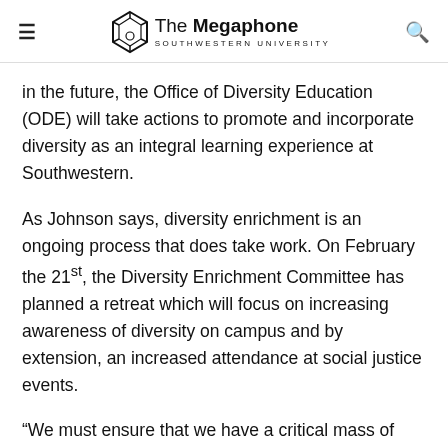The Megaphone — SOUTHWESTERN UNIVERSITY
in the future, the Office of Diversity Education (ODE) will take actions to promote and incorporate diversity as an integral learning experience at Southwestern.
As Johnson says, diversity enrichment is an ongoing process that does take work. On February the 21st, the Diversity Enrichment Committee has planned a retreat which will focus on increasing awareness of diversity on campus and by extension, an increased attendance at social justice events.
“We must ensure that we have a critical mass of students from diverse backgrounds and that